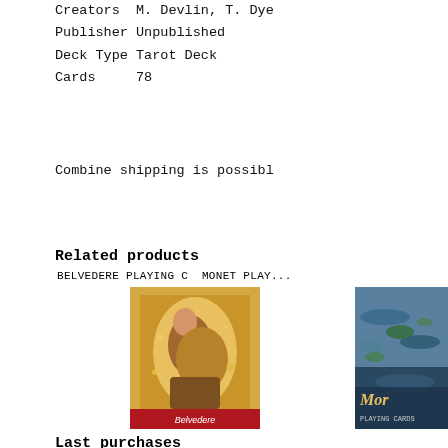Creators M. Devlin, T. Dye
Publisher Unpublished
Deck Type Tarot Deck
Cards     78
Combine shipping is possible
Related products
BELVEDERE PLAYING C  MONET PLAY...
[Figure (photo): Product image of Belvedere Playing Cards featuring Klimt's The Kiss artwork]
[Figure (photo): Product image of Monet Playing Cards featuring lily pond artwork]
Last purchases
2022.08.18. 12:51:37
[Figure (photo): Thumbnail of purchased product 1]
2022.08.18. 12:41:11
[Figure (photo): Thumbnail of purchased product 2 - script/handwriting style logo]
2022.08.18. 12:31:05
[Figure (photo): Thumbnail of purchased product 3 - landscape/nature]
2022.08.18. 12:20:59
[Figure (photo): Thumbnail of purchased product 4]
2022.08.18. 12:10:50
[Figure (photo): Thumbnail of purchased product 5]
If you have any questions...